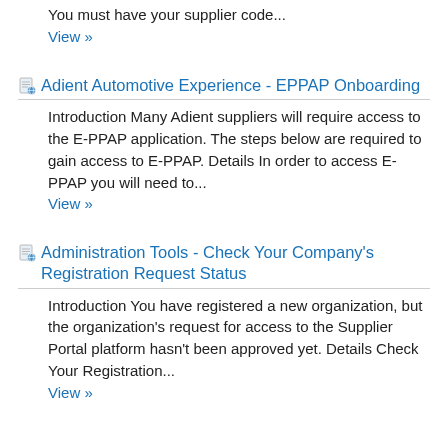You must have your supplier code...
View »
Adient Automotive Experience - EPPAP Onboarding
Introduction Many Adient suppliers will require access to the E-PPAP application. The steps below are required to gain access to E-PPAP. Details In order to access E-PPAP you will need to...
View »
Administration Tools - Check Your Company's Registration Request Status
Introduction You have registered a new organization, but the organization's request for access to the Supplier Portal platform hasn't been approved yet. Details Check Your Registration...
View »